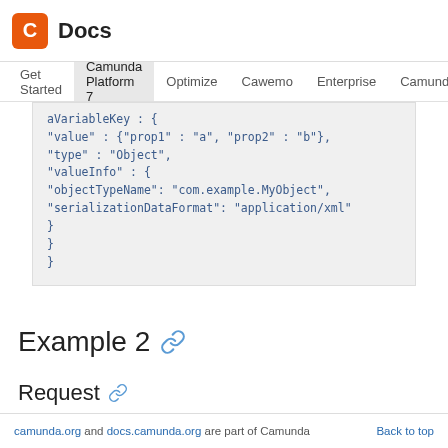C Docs | Get Started | Camunda Platform 7 | Optimize | Cawemo | Enterprise | Camunda.org
[Figure (screenshot): Code block showing JSON with aVariableKey containing value: {prop1: 'a', prop2: 'b'}, type: 'Object', valueInfo with objectTypeName: 'com.example.MyObject' and serializationDataFormat: 'application/xml']
Example 2
Request
camunda.org and docs.camunda.org are part of Camunda | Back to top